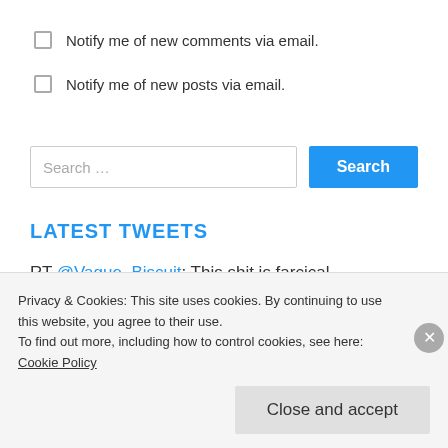Notify me of new comments via email.
Notify me of new posts via email.
Search …
LATEST TWEETS
RT @Vague_Biscuit: This shit is farcical https://t.co/lH2TangBYC Official Wako 4 days ago
Privacy & Cookies: This site uses cookies. By continuing to use this website, you agree to their use.
To find out more, including how to control cookies, see here: Cookie Policy
Close and accept